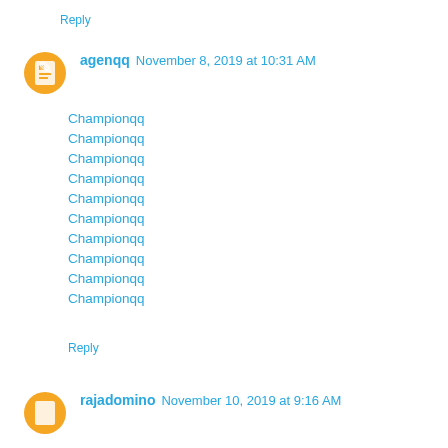Reply
agenqq  November 8, 2019 at 10:31 AM
Championqq
Championqq
Championqq
Championqq
Championqq
Championqq
Championqq
Championqq
Championqq
Championqq
Reply
rajadomino  November 10, 2019 at 9:16 AM